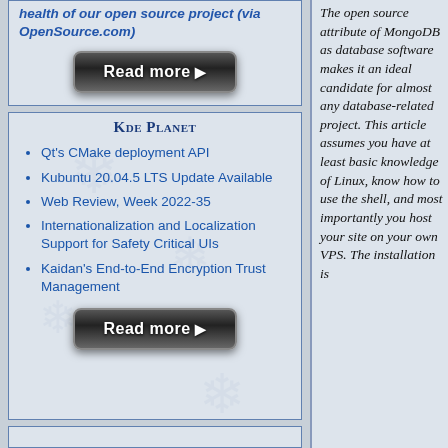health of our open source project (via OpenSource.com)
[Figure (other): Read more button (dark rounded pill button with white text and arrow)]
Kde Planet
Qt's CMake deployment API
Kubuntu 20.04.5 LTS Update Available
Web Review, Week 2022-35
Internationalization and Localization Support for Safety Critical UIs
Kaidan's End-to-End Encryption Trust Management
[Figure (other): Read more button (dark rounded pill button with white text and arrow)]
The open source attribute of MongoDB as database software makes it an ideal candidate for almost any database-related project. This article assumes you have at least basic knowledge of Linux, know how to use the shell, and most importantly you host your site on your own VPS. The installation is